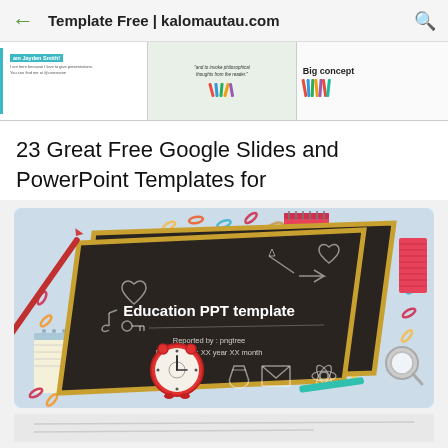Template Free | kalomautau.com
[Figure (screenshot): Three small preview images of presentation templates: one with a person named 'Jayden Smith', one with a quote about philosophical thoughts, and one with 'Big concept' text with colored pencils]
23 Great Free Google Slides and PowerPoint Templates for
[Figure (illustration): Education PPT template illustration showing a dark chalkboard with school supply decorations, a red alarm clock, a red pointer stick, paper clips, notebook, magnifying glass, and text 'Education PPT template' with 'Reported by: pngtree' and 'Report time: XX year XX month']
[Figure (screenshot): Partial view of another template at the bottom of the page]